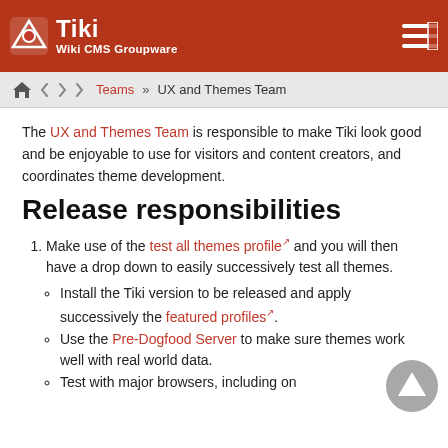Tiki Wiki CMS Groupware
Teams » UX and Themes Team
The UX and Themes Team is responsible to make Tiki look good and be enjoyable to use for visitors and content creators, and coordinates theme development.
Release responsibilities
Make use of the test all themes profile and you will then have a drop down to easily successively test all themes.
Install the Tiki version to be released and apply successively the featured profiles.
Use the Pre-Dogfood Server to make sure themes work well with real world data.
Test with major browsers, including on